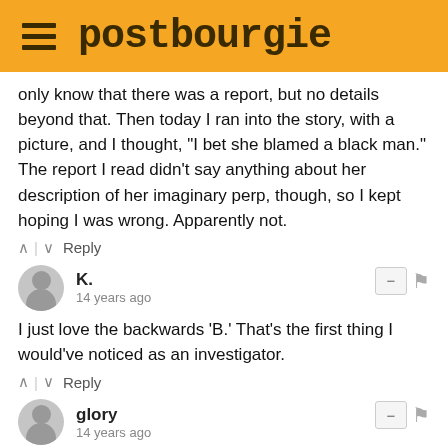postbourgie
only know that there was a report, but no details beyond that. Then today I ran into the story, with a picture, and I thought, "I bet she blamed a black man." The report I read didn't say anything about her description of her imaginary perp, though, so I kept hoping I was wrong. Apparently not.
^ | v  Reply
K.
14 years ago
I just love the backwards 'B.' That's the first thing I would've noticed as an investigator.
^ | v  Reply
glory
14 years ago
Susan Smith all over again. Things like this stir up hateful feelings in me that I have to